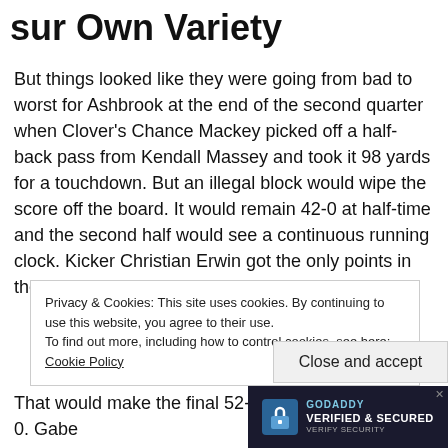sur Own Variety
But things looked like they were going from bad to worst for Ashbrook at the end of the second quarter when Clover's Chance Mackey picked off a half-back pass from Kendall Massey and took it 98 yards for a touchdown. But an illegal block would wipe the score off the board. It would remain 42-0 at half-time and the second half would see a continuous running clock. Kicker Christian Erwin got the only points in the third quarter with a 44-yard field-goal. In the
Privacy & Cookies: This site uses cookies. By continuing to use this website, you agree to their use. To find out more, including how to control cookies, see here: Cookie Policy
Close and accept
[Figure (logo): GoDaddy Verified & Secured badge with lock icon on dark background]
That would make the final 52-0. Gabe